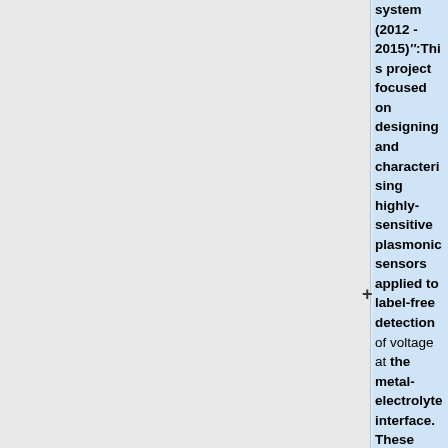system (2012 - 2015)"':This project focused on designing and characterising highly-sensitive plasmonic sensors applied to label-free detection of voltage at the metal-electrolyte interface. These sensors enabled us to detect voltage pulses as small as 10mV on a millisecond timescale and with no